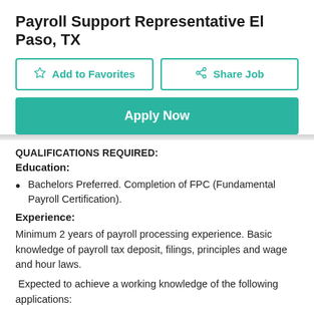Payroll Support Representative El Paso, TX
[Figure (other): Add to Favorites button (outlined, teal border) and Share Job button (outlined, teal border)]
[Figure (other): Apply Now button (green/teal background, white bold text)]
QUALIFICATIONS REQUIRED:
Education:
Bachelors Preferred. Completion of FPC (Fundamental Payroll Certification).
Experience:
Minimum 2 years of payroll processing experience. Basic knowledge of payroll tax deposit, filings, principles and wage and hour laws.
Expected to achieve a working knowledge of the following applications:
WFN ( Portal)
PR Module, HR Module, TA Module